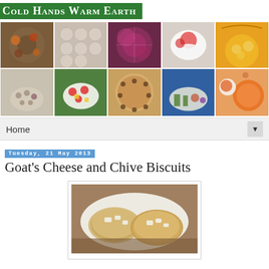Cold Hands Warm Earth
[Figure (photo): Food photo collage showing 10 panels: spices in a tray, round dumplings/breads, red onions sliced, tomato and mozzarella salad, yellow curry, pinto beans, strawberry salad, pie with holes, vegetable plate, and orange soup bowl]
Home
Tuesday, 21 May 2013
Goat's Cheese and Chive Biscuits
[Figure (photo): Photo of two goat's cheese and chive biscuits on a white plate, showing rustic texture with visible cheese pieces]